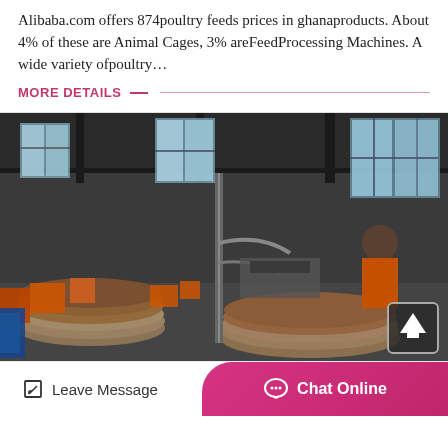Alibaba.com offers 874poultry feeds prices in ghanaproducts. About 4% of these are Animal Cages, 3% areFeedProcessing Machines. A wide variety ofpoultry…
MORE DETAILS
[Figure (photo): Interior of an industrial factory or workshop showing heavy machinery, large metal discs/plates stacked on the floor, workers in orange gear visible in the background, with large windows letting in light. Dark, industrial setting with orange accents.]
Leave Message
Chat Online